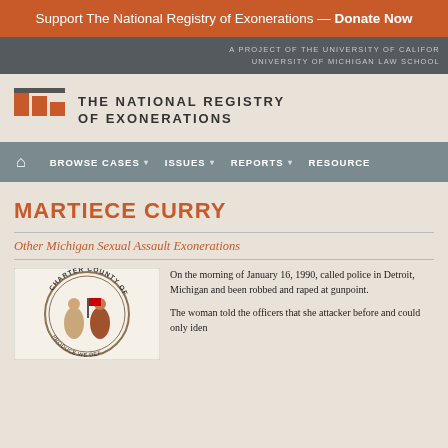Support The National Registry of Exonerations — Donate Now
A PROJECT OF THE UNIVERSITY OF CALIFORNIA, UNIVERSITY OF MICHIGAN LAW SCHOOL
[Figure (logo): The National Registry of Exonerations logo with orange/red rectangular icon and text]
BROWSE CASES | ISSUES | REPORTS | RESOURCES
MARTIECE CURRY
Other Michigan Sexual Assault Exonerations
[Figure (illustration): Charter County of Wayne seal/emblem circular logo]
On the morning of January 16, 1990, called police in Detroit, Michigan and been robbed and raped at gunpoint.
The woman told the officers that she attacker before and could only iden